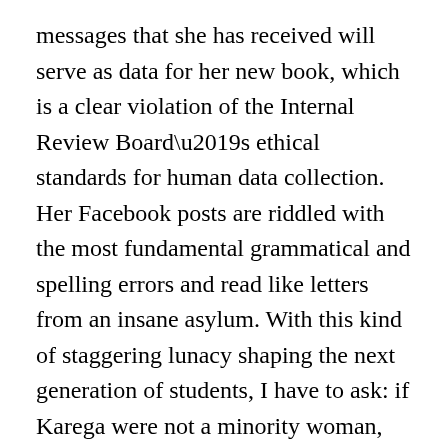messages that she has received will serve as data for her new book, which is a clear violation of the Internal Review Board's ethical standards for human data collection. Her Facebook posts are riddled with the most fundamental grammatical and spelling errors and read like letters from an insane asylum. With this kind of staggering lunacy shaping the next generation of students, I have to ask: if Karega were not a minority woman, but a white man, would her “ideas” be given this much free reign? Is this what affirmative action and political correctness bring to the American higher education system? In 2016, incoherent ramblings of a raging anti-